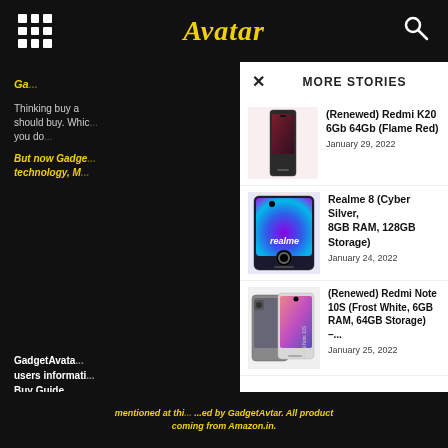Avatar
MORE STORIES
(Renewed) Redmi K20 6Gb 64Gb (Flame Red) — January 29, 2022
Realme 8 (Cyber Silver, 8GB RAM, 128GB Storage) — January 24, 2022
(Renewed) Redmi Note 10S (Frost White, 6GB RAM, 64GB Storage) –... — January 25, 2022
Thinking buy ... should buy. Which ... you do...
But now Gadge... technology, M...
GadgetAvata... users informati... Buy Guide... GadgetAvar...
mentioned at thi... ...ed by GadgetAvtar. All product coming from Amazon.in.